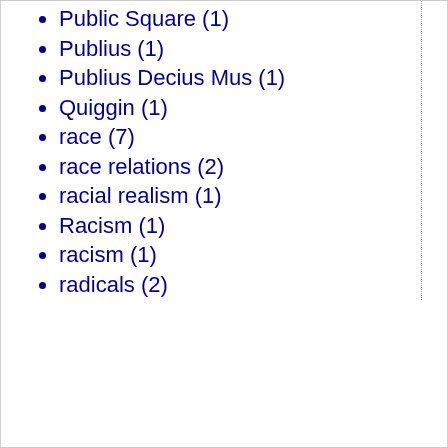Public Square (1)
Publius (1)
Publius Decius Mus (1)
Quiggin (1)
race (7)
race relations (2)
racial realism (1)
Racism (1)
racism (1)
radicals (2)